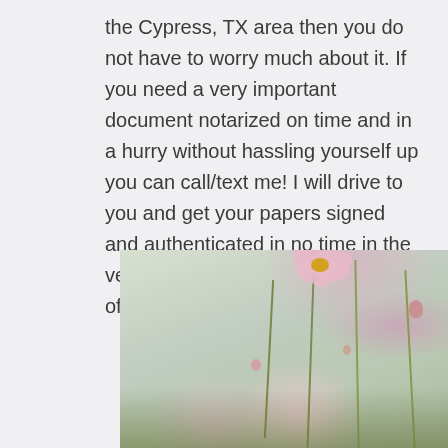the Cypress, TX area then you do not have to worry much about it. If you need a very important document notarized on time and in a hurry without hassling yourself up you can call/text me! I will drive to you and get your papers signed and authenticated in no time in the very comfort of your own home, office, or anywhere else.
[Figure (photo): Close-up photo of pink cosmos flowers with thin green stems against a soft grey-white background, with grass and blurred flowers in the foreground and background.]